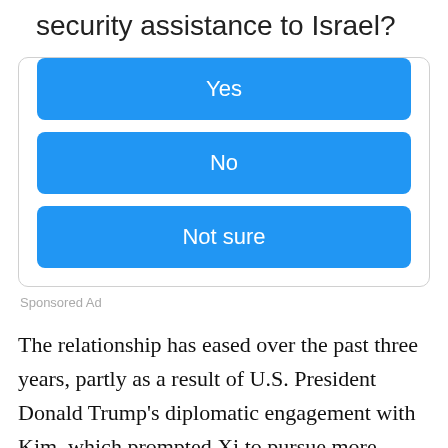security assistance to Israel?
Yes
No
Not sure
Sponsored Ad
The relationship has eased over the past three years, partly as a result of U.S. President Donald Trump’s diplomatic engagement with Kim, which prompted Xi to pursue more frequent and friendly interactions with Kim. But Kim has